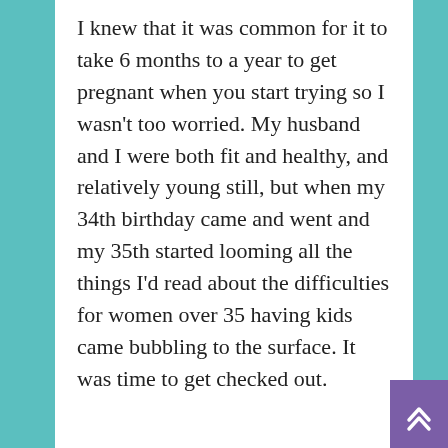I knew that it was common for it to take 6 months to a year to get pregnant when you start trying so I wasn't too worried. My husband and I were both fit and healthy, and relatively young still, but when my 34th birthday came and went and my 35th started looming all the things I'd read about the difficulties for women over 35 having kids came bubbling to the surface. It was time to get checked out.